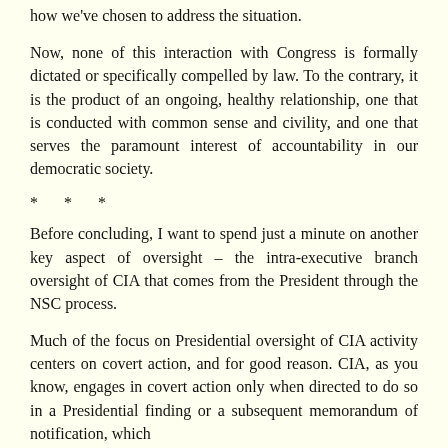how we've chosen to address the situation.
Now, none of this interaction with Congress is formally dictated or specifically compelled by law. To the contrary, it is the product of an ongoing, healthy relationship, one that is conducted with common sense and civility, and one that serves the paramount interest of accountability in our democratic society.
* * *
Before concluding, I want to spend just a minute on another key aspect of oversight – the intra-executive branch oversight of CIA that comes from the President through the NSC process.
Much of the focus on Presidential oversight of CIA activity centers on covert action, and for good reason. CIA, as you know, engages in covert action only when directed to do so in a Presidential finding or a subsequent memorandum of notification, which